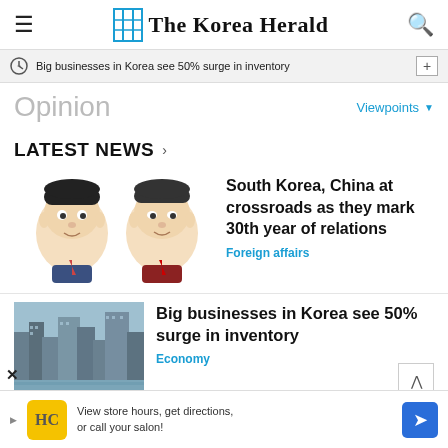The Korea Herald
Big businesses in Korea see 50% surge in inventory
Opinion
Viewpoints
LATEST NEWS
South Korea, China at crossroads as they mark 30th year of relations
Foreign affairs
Big businesses in Korea see 50% surge in inventory
Economy
View store hours, get directions, or call your salon!